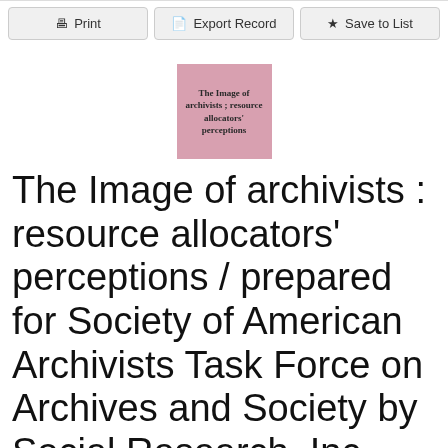[Figure (screenshot): Toolbar with Print, Export Record, and Save to List buttons]
[Figure (illustration): Book cover thumbnail with pink background showing title: The Image of archivists ; resource allocators' perceptions]
The Image of archivists : resource allocators' perceptions / prepared for Society of American Archivists Task Force on Archives and Society by Social Research, Inc.